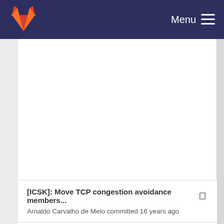Menu
[ICSK]: Move TCP congestion avoidance members...
Arnaldo Carvalho de Melo committed 16 years ago
Linux-2.6.12-rc2
Linus Torvalds committed 17 years ago